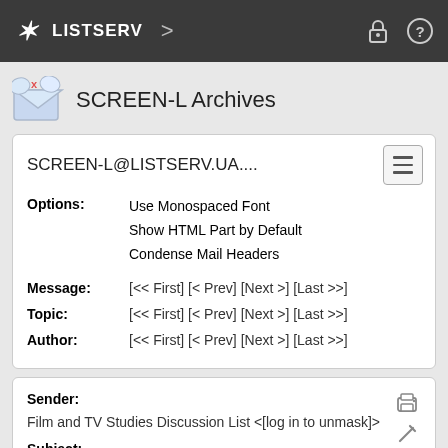LISTSERV
SCREEN-L Archives
SCREEN-L@LISTSERV.UA....
Options: Use Monospaced Font
Show HTML Part by Default
Condense Mail Headers
Message: [<< First] [< Prev] [Next >] [Last >>]
Topic: [<< First] [< Prev] [Next >] [Last >>]
Author: [<< First] [< Prev] [Next >] [Last >>]
Sender:
Film and TV Studies Discussion List <[log in to unmask]>
Subject:
Cyberqueer
From:
Beth Elise Stryker <[log in to unmask]>